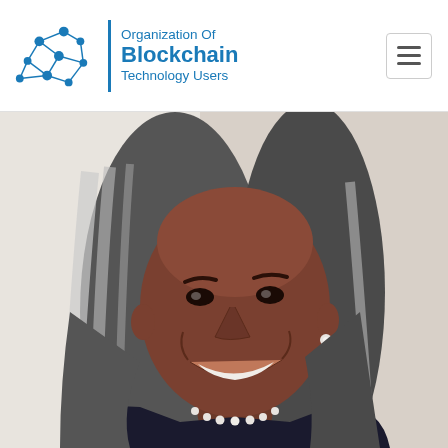[Figure (logo): OBTU logo: network graph icon on left, vertical blue bar, text 'Organization Of Blockchain Technology Users' on right]
[Figure (photo): Portrait photo of a smiling woman with long gray and black hair, wearing a dark jacket and pearl necklace, against a light background]